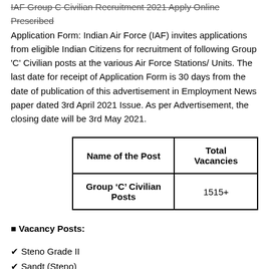IAF Group C Civilian Recruitment 2021 Apply Online Prescribed Application Form: Indian Air Force (IAF) invites applications from eligible Indian Citizens for recruitment of following Group 'C' Civilian posts at the various Air Force Stations/ Units. The last date for receipt of Application Form is 30 days from the date of publication of this advertisement in Employment News paper dated 3rd April 2021 Issue. As per Advertisement, the closing date will be 3rd May 2021.
| Name of the Post | Total Vacancies |
| --- | --- |
| Group ‘C’ Civilian Posts | 1515+ |
■ Vacancy Posts:
✔ Steno Grade II
✔ Sandt (Steno)